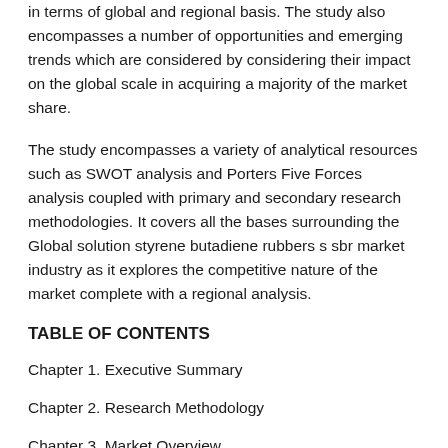in terms of global and regional basis. The study also encompasses a number of opportunities and emerging trends which are considered by considering their impact on the global scale in acquiring a majority of the market share.
The study encompasses a variety of analytical resources such as SWOT analysis and Porters Five Forces analysis coupled with primary and secondary research methodologies. It covers all the bases surrounding the Global solution styrene butadiene rubbers s sbr market industry as it explores the competitive nature of the market complete with a regional analysis.
TABLE OF CONTENTS
Chapter 1. Executive Summary
Chapter 2. Research Methodology
Chapter 3. ...